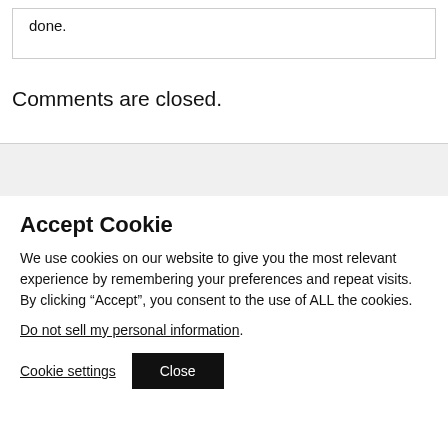done.
Comments are closed.
Accept Cookie
We use cookies on our website to give you the most relevant experience by remembering your preferences and repeat visits. By clicking “Accept”, you consent to the use of ALL the cookies.
Do not sell my personal information.
Cookie settings  Close